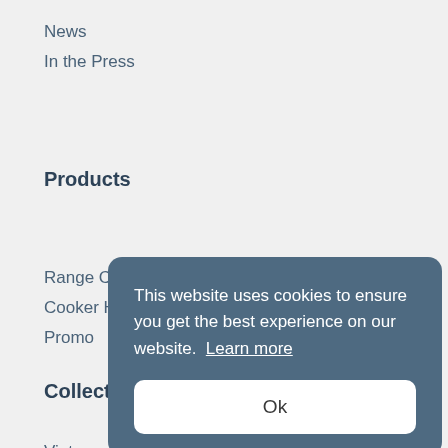News
In the Press
Products
Range Cookers
Cooker Hoods
Promo
Collections
Vintage
Vintage Pro
Modern
Space
This website uses cookies to ensure you get the best experience on our website. Learn more
Ok